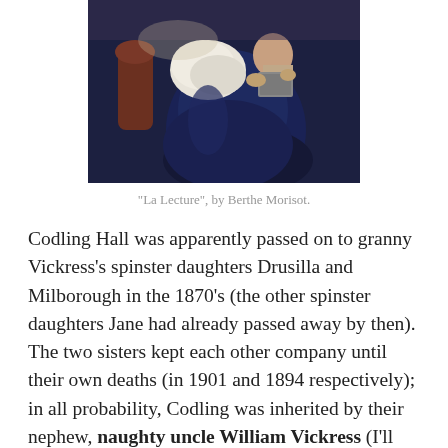[Figure (photo): A painting showing two figures, one in a dark blue dress, in an interior setting — 'La Lecture' by Berthe Morisot.]
"La Lecture", by Berthe Morisot.
Codling Hall was apparently passed on to granny Vickress's spinster daughters Drusilla and Milborough in the 1870's (the other spinster daughters Jane had already passed away by then). The two sisters kept each other company until their own deaths (in 1901 and 1894 respectively); in all probability, Codling was inherited by their nephew, naughty uncle William Vickress (I'll explain the naughty some other time), who already lived there by 1911; William's niece was my great-grandmother.